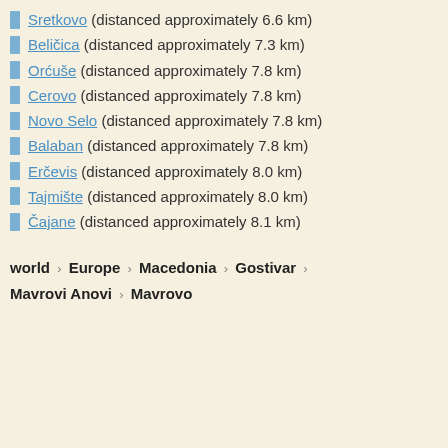Sretkovo (distanced approximately 6.6 km)
Beličica (distanced approximately 7.3 km)
Orćuše (distanced approximately 7.8 km)
Cerovo (distanced approximately 7.8 km)
Novo Selo (distanced approximately 7.8 km)
Balaban (distanced approximately 7.8 km)
Erčevis (distanced approximately 8.0 km)
Tajmište (distanced approximately 8.0 km)
Čajane (distanced approximately 8.1 km)
world > Europe > Macedonia > Gostivar > Mavrovi Anovi > Mavrovo